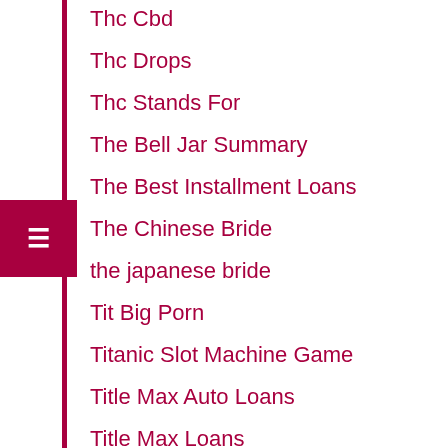Thc Cbd
Thc Drops
Thc Stands For
The Bell Jar Summary
The Best Installment Loans
The Chinese Bride
the japanese bride
Tit Big Porn
Titanic Slot Machine Game
Title Max Auto Loans
Title Max Loans
Title Max Loans Interest Rate
Title Max Locations